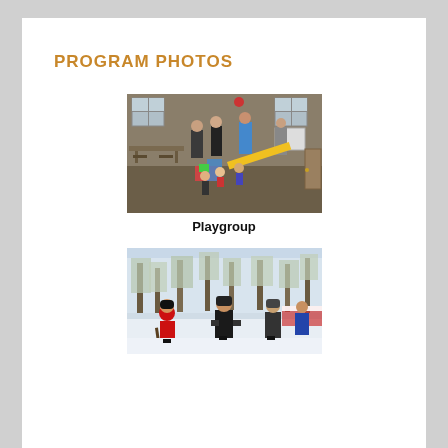PROGRAM PHOTOS
[Figure (photo): Indoor playgroup scene with children playing on a yellow slide and colorful play equipment, adults standing in background in a community room]
Playgroup
[Figure (photo): Outdoor winter scene with people playing hockey or a winter sport in the snow among trees]